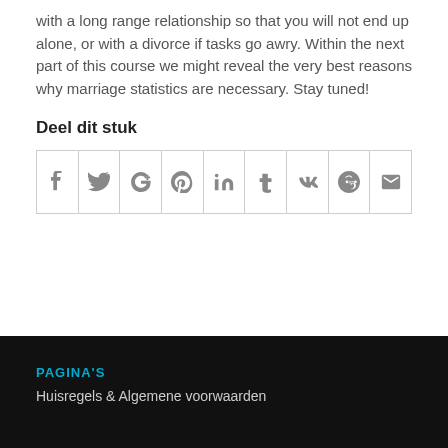with a long range relationship so that you will not end up alone, or with a divorce if tasks go awry. Within the next part of this course we might reveal the very best reasons why marriage statistics are necessary. Stay tuned!
Deel dit stuk
[Figure (other): Row of social media share icon buttons: Facebook, Twitter, Google+, Pinterest, LinkedIn, Tumblr, VK, Reddit, Email]
PAGINA'S
Huisregels & Algemene voorwaarden